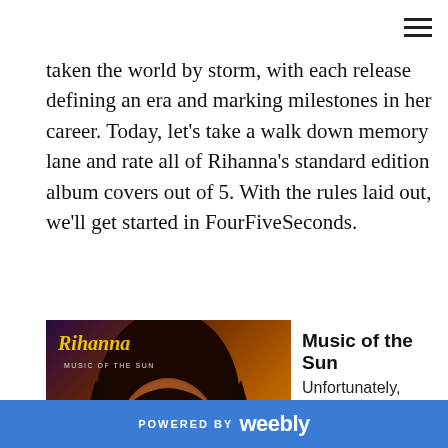≡
taken the world by storm, with each release defining an era and marking milestones in her career. Today, let's take a walk down memory lane and rate all of Rihanna's standard edition album covers out of 5. With the rules laid out, we'll get started in FourFiveSeconds.
[Figure (photo): Rihanna 'Music of the Sun' album cover showing Rihanna's face with gold lettering]
Music of the Sun
Unfortunately, there's not much to see with the Music of the Sun's cover (unless chunky 2000s lettering is your thing). It
POWERED BY weebly